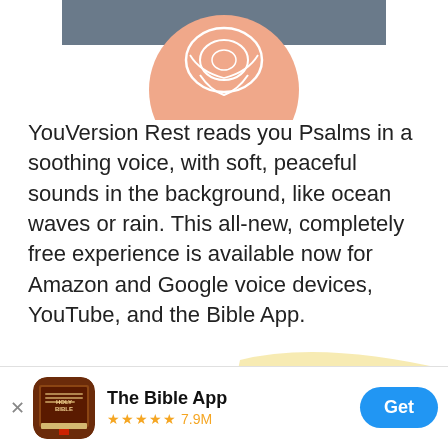[Figure (illustration): Top portion of a person with illustrated rose/floral elements, partially cropped — part of a YouVersion Rest article header image]
YouVersion Rest reads you Psalms in a soothing voice, with soft, peaceful sounds in the background, like ocean waves or rain. This all-new, completely free experience is available now for Amazon and Google voice devices, YouTube, and the Bible App.
[Figure (photo): Three Amazon Echo smart speaker devices of varying sizes arranged on a pastel peach and yellow illustrated background]
[Figure (logo): The Bible App icon — brown book with HOLY BIBLE text and red bookmark]
The Bible App
★★★★★ 7.9M
Get